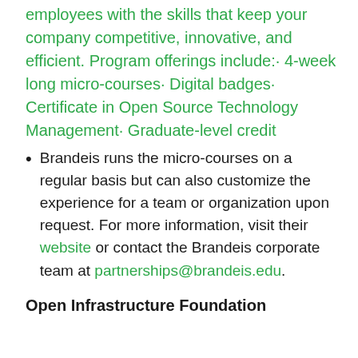employees with the skills that keep your company competitive, innovative, and efficient. Program offerings include:· 4-week long micro-courses· Digital badges· Certificate in Open Source Technology Management· Graduate-level credit
Brandeis runs the micro-courses on a regular basis but can also customize the experience for a team or organization upon request. For more information, visit their website or contact the Brandeis corporate team at partnerships@brandeis.edu.
Open Infrastructure Foundation